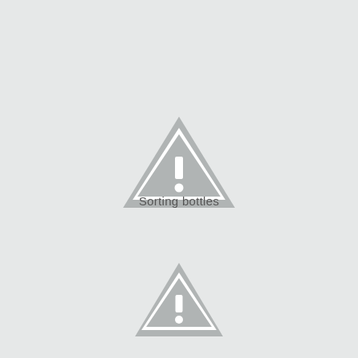[Figure (illustration): Warning triangle icon (large) — grey filled triangle with white border and white exclamation mark inside]
Sorting bottles
[Figure (illustration): Warning triangle icon (smaller) — grey filled triangle with white border and white exclamation mark inside]